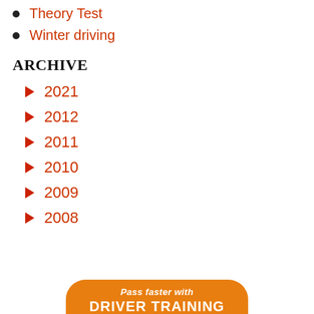Theory Test
Winter driving
Archive
2021
2012
2011
2010
2009
2008
[Figure (other): Orange rounded banner at bottom with text 'Pass faster with DRIVER TRAINING']